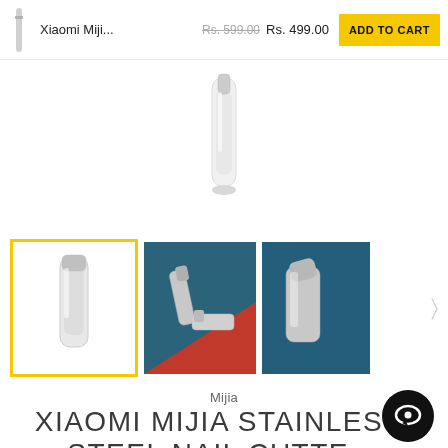Xiaomi Miji... Rs. 599.00 Rs. 499.00 ADD TO CART
1
[Figure (photo): Thumbnail row showing Xiaomi Mijia nail clipper in three views: selected white background, red/blue background with two clippers, blue background with open clipper]
Mijia
XIAOMI MIJIA STAINLESS STEEL NAIL CUTTER CLIPPER